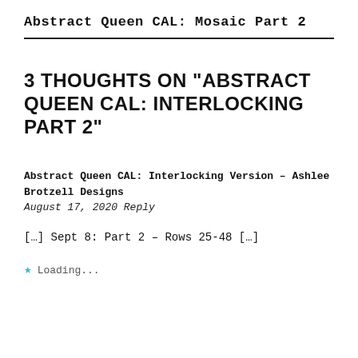Abstract Queen CAL: Mosaic Part 2
3 THOUGHTS ON “ABSTRACT QUEEN CAL: INTERLOCKING PART 2”
Abstract Queen CAL: Interlocking Version – Ashlee Brotzell Designs
August 17, 2020 Reply
[…] Sept 8: Part 2 – Rows 25-48 […]
Loading...